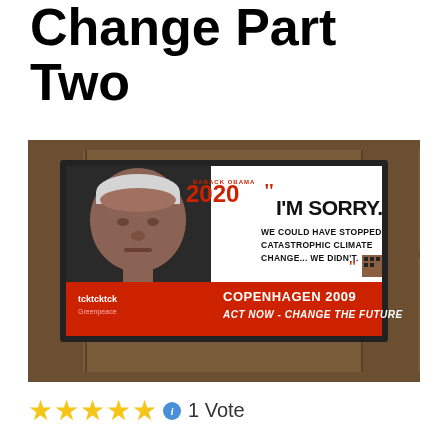Change Part Two
[Figure (photo): Billboard advertisement showing Barack Obama with text 'I'm Sorry. We could have stopped catastrophic climate change... we didn't.' with Copenhagen 2009 Act Now - Change The Future branding and tcktcktck Greenpeace logos. Barack Obama 2020 campaign style.]
1 Vote